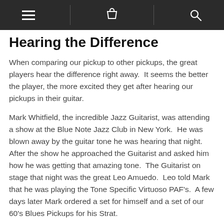[navigation bar with menu, cart, and search icons]
Hearing the Difference
When comparing our pickup to other pickups, the great players hear the difference right away.  It seems the better the player, the more excited they get after hearing our pickups in their guitar.
Mark Whitfield, the incredible Jazz Guitarist, was attending a show at the Blue Note Jazz Club in New York.  He was blown away by the guitar tone he was hearing that night. After the show he approached the Guitarist and asked him how he was getting that amazing tone.  The Guitarist on stage that night was the great Leo Amuedo.  Leo told Mark that he was playing the Tone Specific Virtuoso PAF's.  A few days later Mark ordered a set for himself and a set of our 60's Blues Pickups for his Strat.
Pre Tested   On the Road & in the